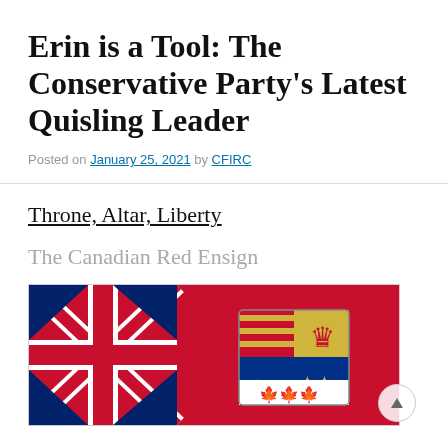Erin is a Tool: The Conservative Party's Latest Quisling Leader
Posted on January 25, 2021 by CFIRC
Throne, Altar, Liberty
The Canadian Red Ensign
[Figure (photo): The Canadian Red Ensign flag — a red field with the Union Jack in the upper left canton and the Canadian coat of arms on the right side.]